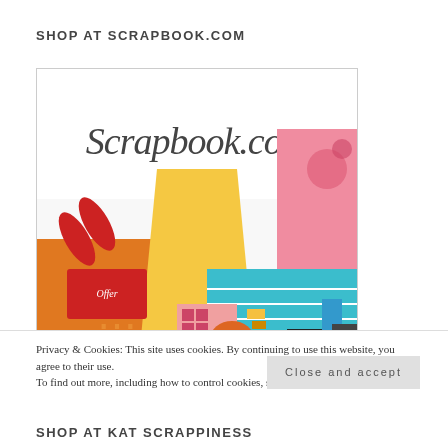SHOP AT SCRAPBOOK.COM
[Figure (photo): Scrapbook.com advertisement image showing the Scrapbook.com logo in script font overlaid on a colorful flatlay of scrapbooking supplies including scissors, paper, stamps, ink pads, and craft materials in red, yellow, pink, teal, and orange colors.]
Privacy & Cookies: This site uses cookies. By continuing to use this website, you agree to their use.
To find out more, including how to control cookies, see here: Cookie Policy
Close and accept
SHOP AT KAT SCRAPPINESS